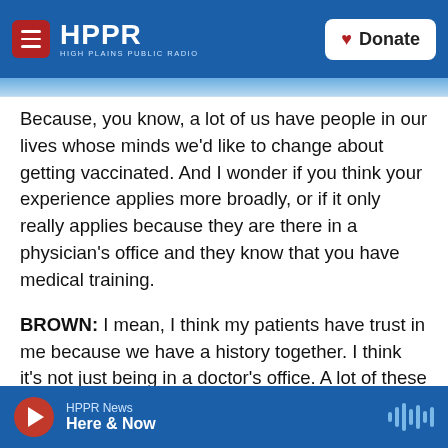HPPR HIGH PLAINS PUBLIC RADIO | Donate
Because, you know, a lot of us have people in our lives whose minds we'd like to change about getting vaccinated. And I wonder if you think your experience applies more broadly, or if it only really applies because they are there in a physician's office and they know that you have medical training.
BROWN: I mean, I think my patients have trust in me because we have a history together. I think it's not just being in a doctor's office. A lot of these patients - we've gone through some tough times together, and we have that level of trust. And we
HPPR News | Here & Now